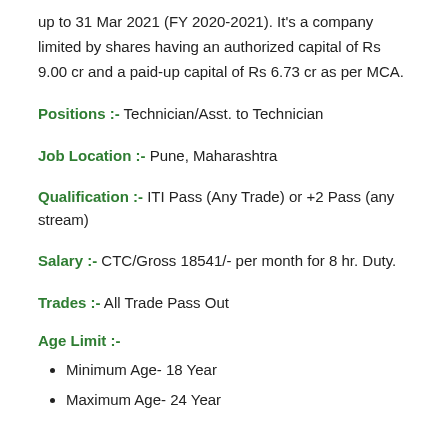up to 31 Mar 2021 (FY 2020-2021). It's a company limited by shares having an authorized capital of Rs 9.00 cr and a paid-up capital of Rs 6.73 cr as per MCA.
Positions :- Technician/Asst. to Technician
Job Location :- Pune, Maharashtra
Qualification :- ITI Pass (Any Trade) or +2 Pass (any stream)
Salary :- CTC/Gross 18541/- per month for 8 hr. Duty.
Trades :- All Trade Pass Out
Age Limit :-
Minimum Age- 18 Year
Maximum Age- 24 Year